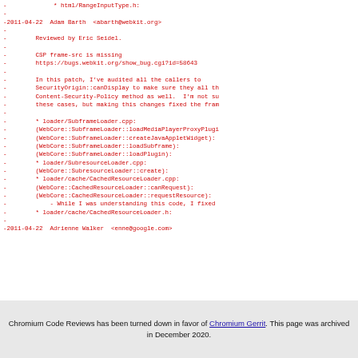- html/RangeInputType.h:
-
-2011-04-22  Adam Barth  <abarth@webkit.org>
-
-        Reviewed by Eric Seidel.
-
-        CSP frame-src is missing
-        https://bugs.webkit.org/show_bug.cgi?id=58643
-
-        In this patch, I've audited all the callers to
-        SecurityOrigin::canDisplay to make sure they all th
-        Content-Security-Policy method as well.  I'm not su
-        these cases, but making this changes fixed the fram
-
-        * loader/SubframeLoader.cpp:
-        (WebCore::SubframeLoader::loadMediaPlayerProxyPlugi
-        (WebCore::SubframeLoader::createJavaAppletWidget):
-        (WebCore::SubframeLoader::loadSubframe):
-        (WebCore::SubframeLoader::loadPlugin):
-        * loader/SubresourceLoader.cpp:
-        (WebCore::SubresourceLoader::create):
-        * loader/cache/CachedResourceLoader.cpp:
-        (WebCore::CachedResourceLoader::canRequest):
-        (WebCore::CachedResourceLoader::requestResource):
-            - While I was understanding this code, I fixed
-        * loader/cache/CachedResourceLoader.h:
-
-2011-04-22  Adrienne Walker  <enne@google.com>
Chromium Code Reviews has been turned down in favor of Chromium Gerrit. This page was archived in December 2020.